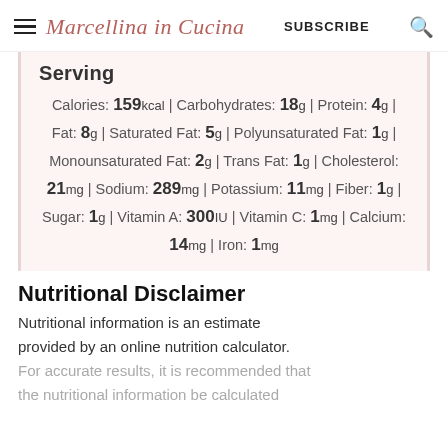Marcellina in Cucina | SUBSCRIBE | Search
Serving
Calories: 159kcal | Carbohydrates: 18g | Protein: 4g | Fat: 8g | Saturated Fat: 5g | Polyunsaturated Fat: 1g | Monounsaturated Fat: 2g | Trans Fat: 1g | Cholesterol: 21mg | Sodium: 289mg | Potassium: 11mg | Fiber: 1g | Sugar: 1g | Vitamin A: 300IU | Vitamin C: 1mg | Calcium: 14mg | Iron: 1mg
Nutritional Disclaimer
Nutritional information is an estimate provided by an online nutrition calculator. For accurate results, it is recommended that the nutritional information be calculated